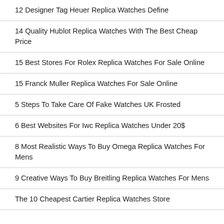12 Designer Tag Heuer Replica Watches Define
14 Quality Hublot Replica Watches With The Best Cheap Price
15 Best Stores For Rolex Replica Watches For Sale Online
15 Franck Muller Replica Watches For Sale Online
5 Steps To Take Care Of Fake Watches UK Frosted
6 Best Websites For Iwc Replica Watches Under 20$
8 Most Realistic Ways To Buy Omega Replica Watches For Mens
9 Creative Ways To Buy Breitling Replica Watches For Mens
The 10 Cheapest Cartier Replica Watches Store